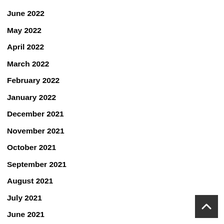June 2022
May 2022
April 2022
March 2022
February 2022
January 2022
December 2021
November 2021
October 2021
September 2021
August 2021
July 2021
June 2021
April 2021
March 2021
January 2021